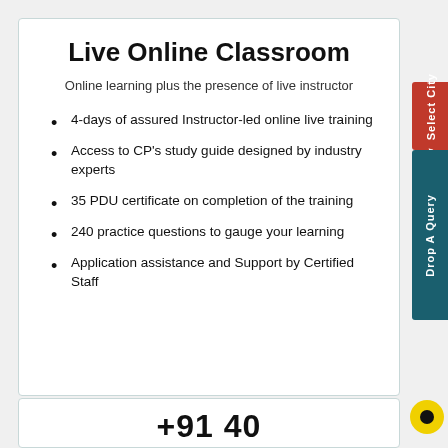Live Online Classroom
Online learning plus the presence of live instructor
4-days of assured Instructor-led online live training
Access to CP's study guide designed by industry experts
35 PDU certificate on completion of the training
240 practice questions to gauge your learning
Application assistance and Support by Certified Staff